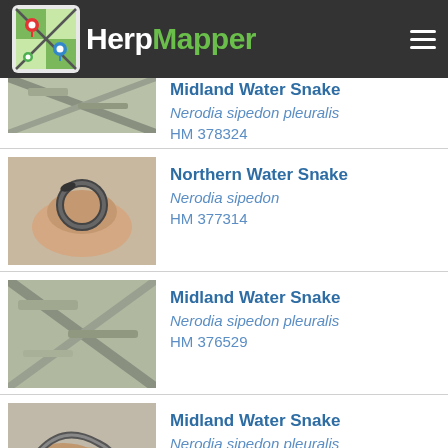HerpMapper
Midland Water Snake
Nerodia sipedon pleuralis
HM 378324
Northern Water Snake
Nerodia sipedon
HM 377314
Midland Water Snake
Nerodia sipedon pleuralis
HM 376529
Midland Water Snake
Nerodia sipedon pleuralis
HM 376528
Midland Water Snake
Nerodia sipedon pleuralis
HM 373027
Midland Water Snake